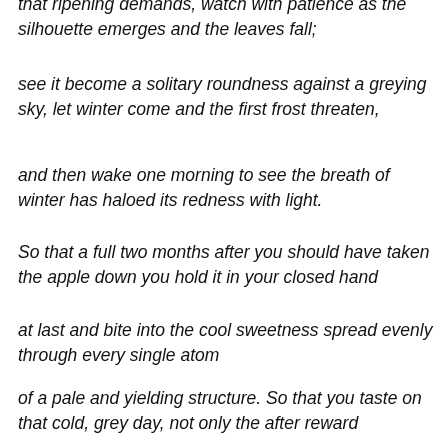that ripening demands, watch with patience as the silhouette emerges and the leaves fall;
see it become a solitary roundness against a greying sky, let winter come and the first frost threaten,
and then wake one morning to see the breath of winter has haloed its redness with light.
So that a full two months after you should have taken the apple down you hold it in your closed hand
at last and bite into the cool sweetness spread evenly through every single atom
of a pale and yielding structure. So that you taste on that cold, grey day, not only the after reward
of a patience remembered, not only the summer sunlight